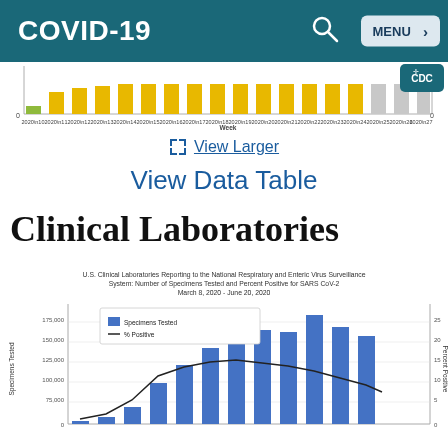COVID-19
[Figure (bar-chart): Partial bar chart showing weekly COVID-19 data with gold/yellow bars across weeks 2020w10 through 2020w27]
View Larger
View Data Table
Clinical Laboratories
[Figure (bar-chart): Bar chart with blue bars for Specimens Tested and a black line for % Positive. Y-axis left: Specimens Tested (0 to 175,000). Y-axis right: Percent Positive (0 to 25). Bars increase from low values to peak around 175,000 then drop. Line peaks in middle weeks.]